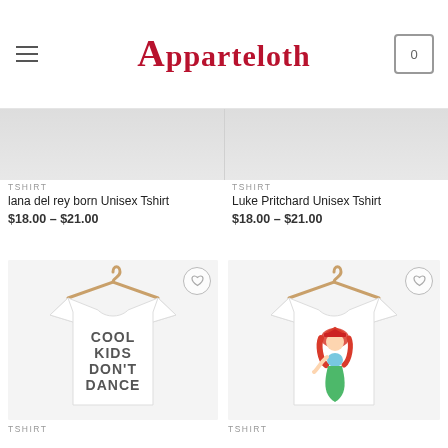Apparteloth
TSHIRT
lana del rey born Unisex Tshirt
$18.00 – $21.00
TSHIRT
Luke Pritchard Unisex Tshirt
$18.00 – $21.00
[Figure (photo): White t-shirt on a hanger with 'COOL KIDS DON'T DANCE' text graphic]
[Figure (photo): White t-shirt on a hanger with mermaid Ariel graphic]
TSHIRT
TSHIRT